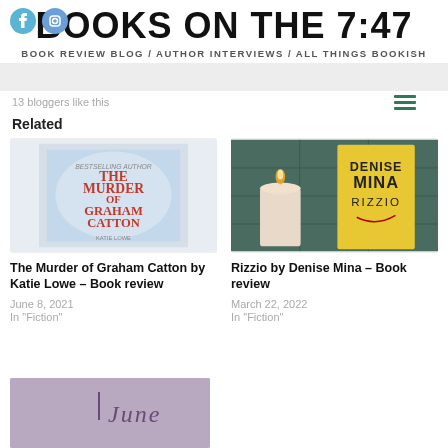BOOKS ON THE 7:47
BOOK REVIEW BLOG / AUTHOR INTERVIEWS / ALL THINGS BOOKISH
13 bloggers like this
Related
[Figure (photo): Book cover: The Murder of Graham Catton by Katie Lowe]
The Murder of Graham Catton by Katie Lowe – Book review

June 8, 2021
In "Fiction"
[Figure (photo): Book cover: Rizzio by Denise Mina, with candle]
Rizzio by Denise Mina – Book review

March 22, 2022
In "Fiction"
[Figure (photo): Purple/mauve background book cover with 'June' text]